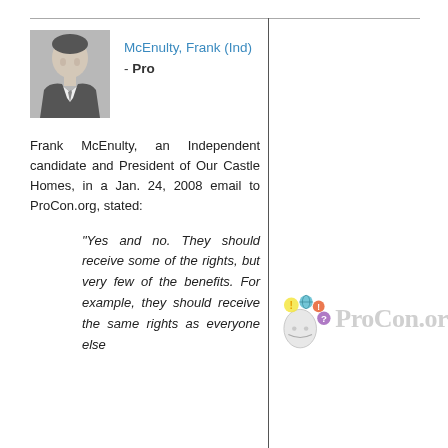[Figure (photo): Black and white headshot photo of Frank McEnulty in a suit and tie]
McEnulty, Frank (Ind)
- Pro
Frank McEnulty, an Independent candidate and President of Our Castle Homes, in a Jan. 24, 2008 email to ProCon.org, stated:
"Yes and no. They should receive some of the rights, but very few of the benefits. For example, they should receive the same rights as everyone else
[Figure (logo): ProCon.org logo with colorful brain/icons graphic and grey ProCon.or text]